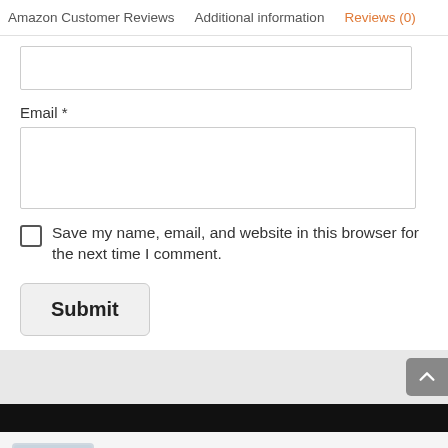Amazon Customer Reviews   Additional information   Reviews (0)
Email *
Save my name, email, and website in this browser for the next time I comment.
Submit
Amazon.com Price: $29.01 (as of 20/08/2022 20:17 PST- Details)
BUY NOW